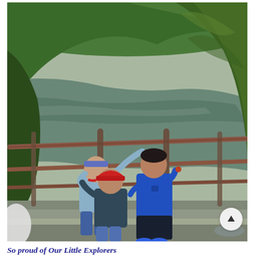[Figure (photo): Three children standing at a metal railing overlook, viewing a large green volcanic crater lake surrounded by lush green hills. One girl wearing a blue bandana headband and light blue shirt leans on the railing, one smaller boy with a red cap and dark jacket stands in the middle, and a taller boy in a blue shirt and dark shorts stands on the right. The landscape behind shows a large calm lake reflected with green forested hills.]
So proud of Our Little Explorers